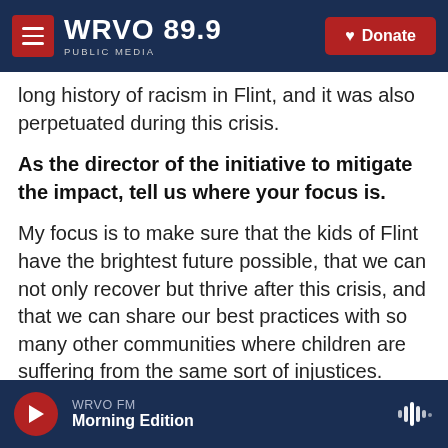WRVO PUBLIC MEDIA 89.9 | Donate
long history of racism in Flint, and it was also perpetuated during this crisis.
As the director of the initiative to mitigate the impact, tell us where your focus is.
My focus is to make sure that the kids of Flint have the brightest future possible, that we can not only recover but thrive after this crisis, and that we can share our best practices with so many other communities where children are suffering from the same sort of injustices.
Copyright 2021 NPR. To see more, visit
WRVO FM | Morning Edition